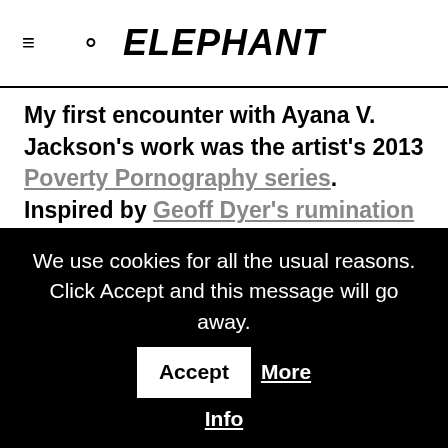ELEPHANT
My first encounter with Ayana V. Jackson's work was the artist's 2013 Poverty Pornography series. Inspired by Geoff Dyer's rumination on the history of photography in The Ongoing Moment, Jackson interrogated the way black bodies in the global south had been represented by the camera, creating a stereotype image—bodies ravaged and ruined by sickness, subjected to suffering,
We use cookies for all the usual reasons. Click Accept and this message will go away. Accept More Info